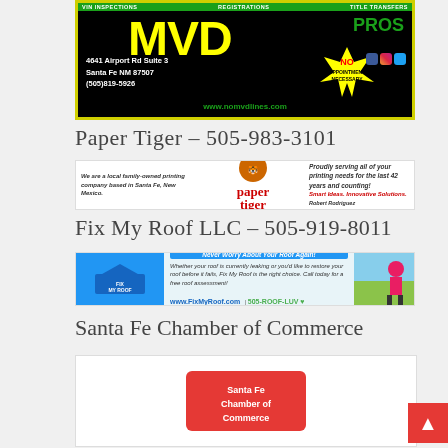[Figure (advertisement): MVD Pros advertisement: VIN Inspections, Registrations, Title Transfers. 4641 Airport Rd Suite 3, Santa Fe NM 87507, (505)819-5926, www.nomvdlines.com, No Appointment Necessary]
Paper Tiger – 505-983-3101
[Figure (advertisement): Paper Tiger local family-owned printing company advertisement. Smart Ideas, Innovative Solutions. Robert Rodriguez.]
Fix My Roof LLC – 505-919-8011
[Figure (advertisement): Fix My Roof LLC advertisement: Never Worry About Your Roof Again! www.FixMyRoof.com | 505-ROOF-LUV]
Santa Fe Chamber of Commerce
[Figure (advertisement): Santa Fe Chamber of Commerce advertisement (partially visible)]